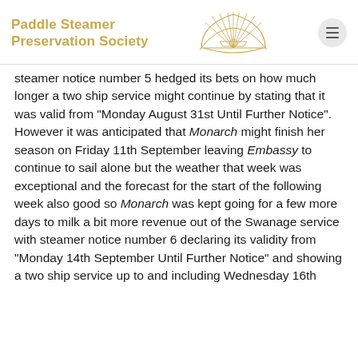Paddle Steamer Preservation Society
steamer notice number 5 hedged its bets on how much longer a two ship service might continue by stating that it was valid from "Monday August 31st Until Further Notice". However it was anticipated that Monarch might finish her season on Friday 11th September leaving Embassy to continue to sail alone but the weather that week was exceptional and the forecast for the start of the following week also good so Monarch was kept going for a few more days to milk a bit more revenue out of the Swanage service with steamer notice number 6 declaring its validity from "Monday 14th September Until Further Notice" and showing a two ship service up to and including Wednesday 16th